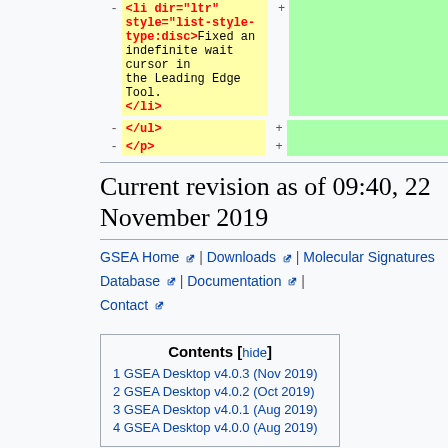| - | left | + | right |
| --- | --- | --- | --- |
| - | <li dir="ltr" style="list-style-type:disc">Fixed an indefinite wait cursor in the Leading Edge Tool. </li> | + |  |
| - | left | + | right |
| --- | --- | --- | --- |
| - | </ul> | + |  |
| - | </p> | + |  |
Current revision as of 09:40, 22 November 2019
GSEA Home | Downloads | Molecular Signatures Database | Documentation | Contact
| Contents |
| --- |
| 1 GSEA Desktop v4.0.3 (Nov 2019) |
| 2 GSEA Desktop v4.0.2 (Oct 2019) |
| 3 GSEA Desktop v4.0.1 (Aug 2019) |
| 4 GSEA Desktop v4.0.0 (Aug 2019) |